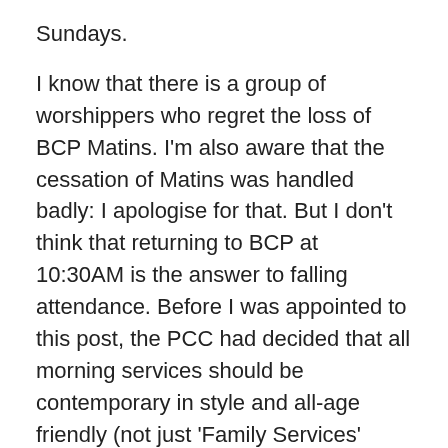Sundays.
I know that there is a group of worshippers who regret the loss of BCP Matins. I'm also aware that the cessation of Matins was handled badly: I apologise for that. But I don't think that returning to BCP at 10:30AM is the answer to falling attendance. Before I was appointed to this post, the PCC had decided that all morning services should be contemporary in style and all-age friendly (not just 'Family Services' once a month). I believe that that is right and I am committed to that. The PCC has agreed that the evening service will concentrate on meeting the needs of those who value more traditional provision. (There are also communion services at 8:00AM each Sunday and at 10:30AM on Thursdays which cater to those with more traditional tastes.) So, morning services will be our 'shop window', the place we are looking to reach out to a wider